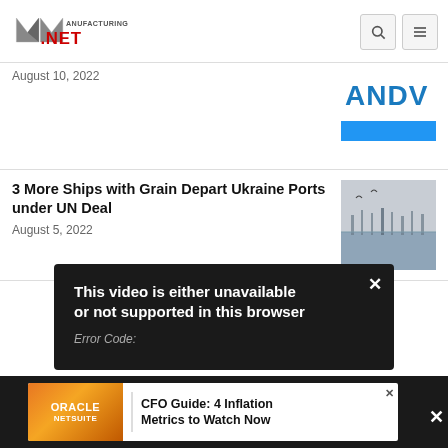Manufacturing.net
August 10, 2022
3 More Ships with Grain Depart Ukraine Ports under UN Deal
August 5, 2022
[Figure (screenshot): Video error overlay on dark background reading: This video is either unavailable or not supported in this browser. Error Code:]
[Figure (infographic): Oracle NetSuite advertisement: CFO Guide: 4 Inflation Metrics to Watch Now]